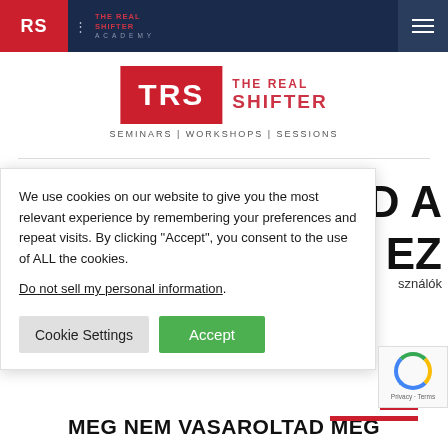TRS The Real Shifter Academy — navigation bar with burger menu
[Figure (logo): TRS The Real Shifter logo with red TRS box and red text THE REAL SHIFTER, subtitle SEMINARS | WORKSHOPS | SESSIONS]
[Figure (screenshot): Cookie consent banner overlaying page content. Text: We use cookies on our website to give you the most relevant experience by remembering your preferences and repeat visits. By clicking Accept, you consent to the use of ALL the cookies. Link: Do not sell my personal information. Buttons: Cookie Settings, Accept]
MEG NEM VASAROLTAD MEG
IED A EZ
sználók